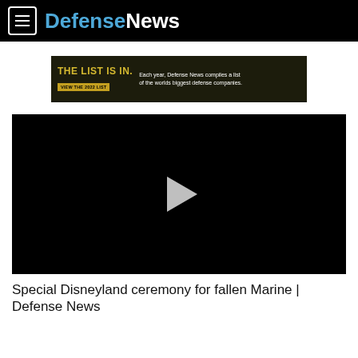Defense News
[Figure (screenshot): Advertisement banner: 'THE LIST IS IN.' with text 'Each year, Defense News compiles a list of the worlds biggest defense companies.' and a button 'VIEW THE 2022 LIST']
[Figure (screenshot): Black video player with a white play button triangle in the center]
Special Disneyland ceremony for fallen Marine | Defense News